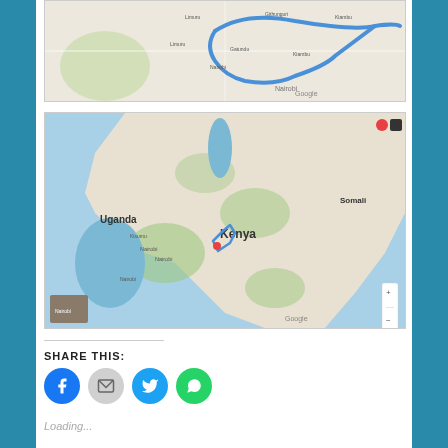[Figure (map): Google Maps screenshot showing a route near Nairobi, Kenya with a blue loop route line]
[Figure (map): Google Maps screenshot showing Kenya country map with Uganda to the west, Somalia to the northeast, with a blue route marked near Nairobi in central Kenya]
SHARE THIS:
Loading...